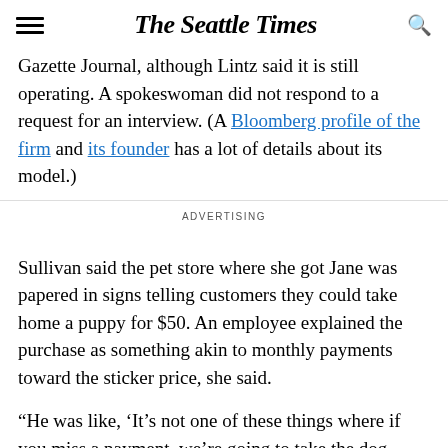The Seattle Times
Gazette Journal, although Lintz said it is still operating. A spokeswoman did not respond to a request for an interview. (A Bloomberg profile of the firm and its founder has a lot of details about its model.)
ADVERTISING
Sullivan said the pet store where she got Jane was papered in signs telling customers they could take home a puppy for $50. An employee explained the purchase as something akin to monthly payments toward the sticker price, she said.
“He was like, ‘It’s not one of these things where if you miss a payment, we’re going to take the dog back… It’s kind of how we do the payment plan,’”